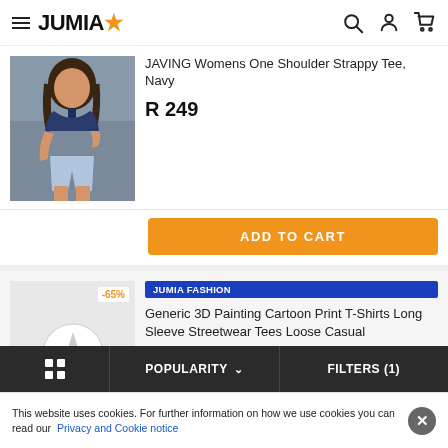JUMIA
[Figure (photo): Woman wearing navy blue one-shoulder strappy tee with light denim shorts]
JAVING Womens One Shoulder Strappy Tee, Navy
R 249
ADD TO CART
[Figure (illustration): Placeholder image with star icon for Generic 3D Painting Cartoon Print T-Shirts product, showing -65% discount badge]
JUMIA FASHION
Generic 3D Painting Cartoon Print T-Shirts Long Sleeve Streetwear Tees Loose Casual
R 241  R 687
POPULARITY  FILTERS (1)
This website uses cookies. For further information on how we use cookies you can read our  Privacy and Cookie notice